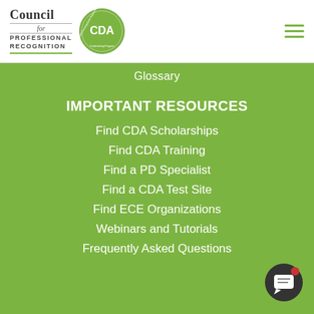Council for Professional Recognition — CDA — Child Development Associate Credentialing Program
Glossary
IMPORTANT RESOURCES
Find CDA Scholarships
Find CDA Training
Find a PD Specialist
Find a CDA Test Site
Find ECE Organizations
Webinars and Tutorials
Frequently Asked Questions